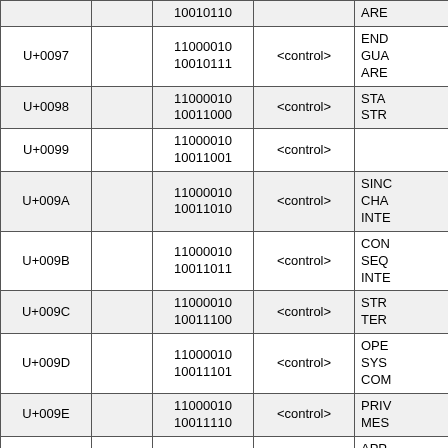| Code Point |  | UTF-8 Binary | HTML Entity | Description |
| --- | --- | --- | --- | --- |
|  |  | 10010110 |  | ARE... |
| U+0097 |  | 11000010 10010111 | <control> | END GUA ARE... |
| U+0098 |  | 11000010 10011000 | <control> | STA STR... |
| U+0099 |  | 11000010 10011001 | <control> |  |
| U+009A |  | 11000010 10011010 | <control> | SINC CHA INTE... |
| U+009B |  | 11000010 10011011 | <control> | CON SEQ INTE... |
| U+009C |  | 11000010 10011100 | <control> | STR TER... |
| U+009D |  | 11000010 10011101 | <control> | OPE SYS COM... |
| U+009E |  | 11000010 10011110 | <control> | PRIV MES... |
| U+009F |  | 11000010 10011111 | <control> | APP PRO COM... |